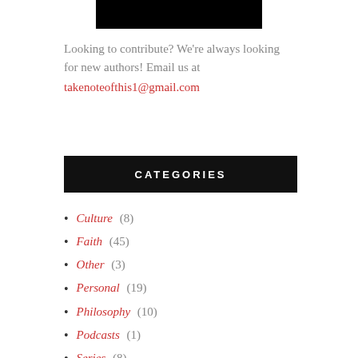[Figure (other): Black rectangular image at the top center of the page]
Looking to contribute? We're always looking for new authors! Email us at takenoteofthis1@gmail.com
CATEGORIES
Culture (8)
Faith (45)
Other (3)
Personal (19)
Philosophy (10)
Podcasts (1)
Series (8)
Sermons (7)